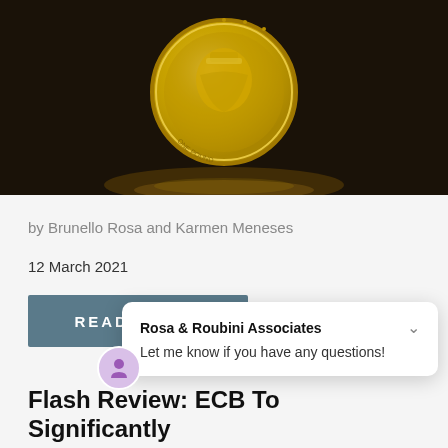[Figure (photo): A gold British one pound coin standing upright on its edge against a dark brown background, with warm golden light reflecting on the surface below it.]
by Brunello Rosa and Karmen Meneses
12 March 2021
READ PAPER
Rosa & Roubini Associates
Let me know if you have any questions!
Flash Review: ECB To Significantly